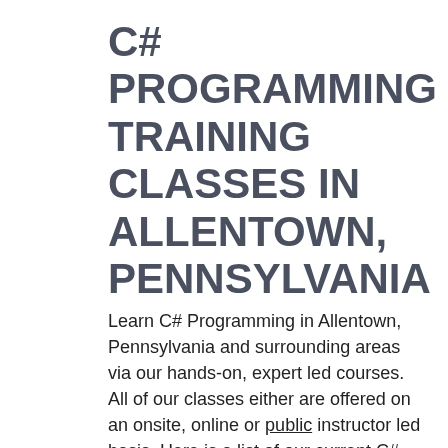C# PROGRAMMING TRAINING CLASSES IN ALLENTOWN, PENNSYLVANIA
Learn C# Programming in Allentown, Pennsylvania and surrounding areas via our hands-on, expert led courses. All of our classes either are offered on an onsite, online or public instructor led basis. Here is a list of our current C# Programming related training offerings in Allentown,